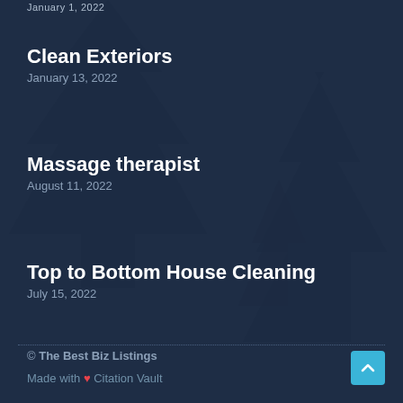January 1, 2022
Clean Exteriors
January 13, 2022
Massage therapist
August 11, 2022
Top to Bottom House Cleaning
July 15, 2022
© The Best Biz Listings
Made with ❤ Citation Vault